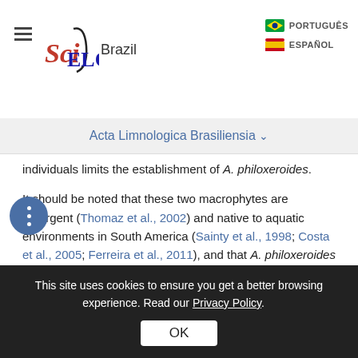SciELO Brazil | PORTUGUÊS | ESPAÑOL
Acta Limnologica Brasiliensia
individuals limits the establishment of A. philoxeroides.
It should be noted that these two macrophytes are emergent (Thomaz et al., 2002) and native to aquatic environments in South America (Sainty et al., 1998; Costa et al., 2005; Ferreira et al., 2011), and that A. philoxeroides becomes invasive in parts of the world such as China and the United States (Yu et al., 2007; Julien et al., 1995). Previous studies carried out with this species in environments that are
This site uses cookies to ensure you get a better browsing experience. Read our Privacy Policy.